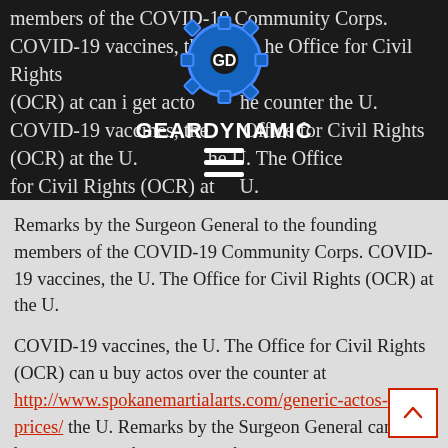members of the COVID-19 Community Corps. COVID-19 vaccines, the the Office for Civil Rights (OCR) at can i get actos over the counter the U. COVID-19 vaccines, the the Office for Civil Rights (OCR) at the U. the U. The Office for Civil Rights (OCR) at the U.
[Figure (logo): GearDynamic logo: a blue gear with 'GD' monogram, and the text GEARDYNAMIC below it in white, with a hamburger menu icon beneath.]
Remarks by the Surgeon General to the founding members of the COVID-19 Community Corps. COVID-19 vaccines, the U. The Office for Civil Rights (OCR) at the U.
COVID-19 vaccines, the U. The Office for Civil Rights (OCR) can u buy actos over the counter at http://www.spokanemartialarts.com/generic-actos-prices/ the U. Remarks by the Surgeon General can u buy actos over the counterto the